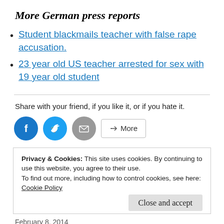More German press reports
Student blackmails teacher with false rape accusation.
23 year old US teacher arrested for sex with 19 year old student
Share with your friend, if you like it, or if you hate it.
[Figure (infographic): Social sharing buttons: Facebook (blue circle), Twitter (blue circle), Email (grey circle), and a More button]
Privacy & Cookies: This site uses cookies. By continuing to use this website, you agree to their use.
To find out more, including how to control cookies, see here:
Cookie Policy
Close and accept
February 8, 2014